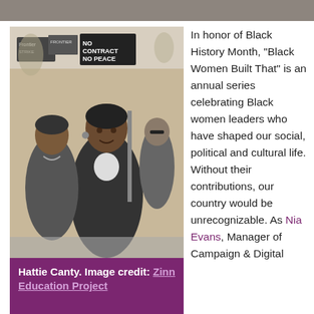[Figure (photo): Top cropped image bar showing part of a black and white photograph]
[Figure (photo): Black and white photograph of Hattie Canty leading a protest march, holding a sign that reads NO CONTRACT NO PEACE, with other marchers including a woman behind her]
Hattie Canty. Image credit: Zinn Education Project
In honor of Black History Month, "Black Women Built That" is an annual series celebrating Black women leaders who have shaped our social, political and cultural life. Without their contributions, our country would be unrecognizable. As Nia Evans, Manager of Campaign & Digital